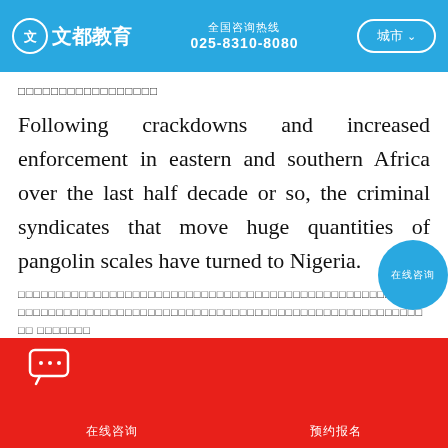文都教育 | 全国咨询热线 025-8310-8080 | 城市
□□□□□□□□□□□□□□□□□
Following crackdowns and increased enforcement in eastern and southern Africa over the last half decade or so, the criminal syndicates that move huge quantities of pangolin scales have turned to Nigeria.
□□□□□□□□□□□□□□□□□□□□□□□□□□□□□□□□□□□□□□□□□□□□□□□□□□□□□□□□□□□□□□□□□□□□□□□□□□□□□□□□□□□□□□□□□□□□□□□□□□□
“There’s no real investigative capacity that has been directed towards this,” said Juli…